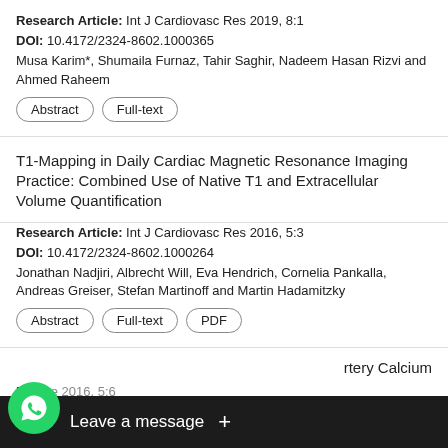Research Article: Int J Cardiovasc Res 2019, 8:1
DOI: 10.4172/2324-8602.1000365
Musa Karim*, Shumaila Furnaz, Tahir Saghir, Nadeem Hasan Rizvi and Ahmed Raheem
Abstract | Full-text
T1-Mapping in Daily Cardiac Magnetic Resonance Imaging Practice: Combined Use of Native T1 and Extracellular Volume Quantification
Research Article: Int J Cardiovasc Res 2016, 5:3
DOI: 10.4172/2324-8602.1000264
Jonathan Nadjiri, Albrecht Will, Eva Hendrich, Cornelia Pankalla, Andreas Greiser, Stefan Martinoff and Martin Hadamitzky
Abstract | Full-text | PDF
...Artery Calcium
Research Article: ... 2016, 5:6
DOI:
[Figure (other): WhatsApp chat widget overlay at the bottom of the page with 'Leave a message +' text on dark background]